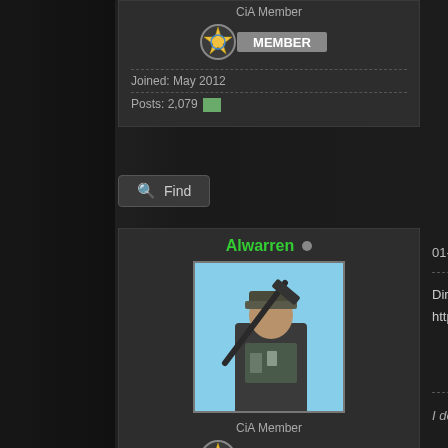CiA Member
[Figure (other): CiA Member badge with star emblem and MEMBER text]
Joined: May 2012
Posts: 2,079
Find
Alwarren
[Figure (photo): Profile photo of user Alwarren, person holding a rifle against a sky background]
CiA Member
[Figure (other): CiA Member badge with star emblem and MEMBER text]
Joined: Apr 2012
Posts: 2,869
01-12-2017, 08:40 PM
Dirt Showdown for free on Humble
https://www.humblebundle.com/st
I don't need luck, I have ammo.